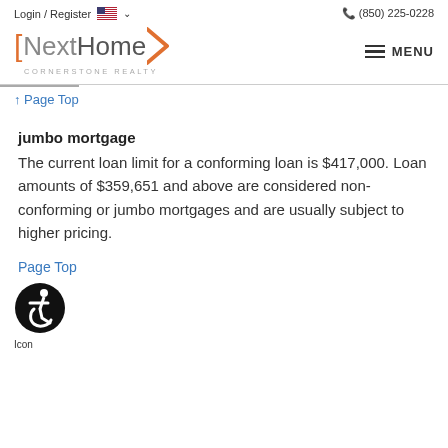Login / Register  (850) 225-0228
[Figure (logo): NextHome Cornerstone Realty logo with orange bracket and chevron]
↑ Page Top
jumbo mortgage
The current loan limit for a conforming loan is $417,000. Loan amounts of $359,651 and above are considered non-conforming or jumbo mortgages and are usually subject to higher pricing.
Page Top
[Figure (illustration): Accessibility icon — circular black icon with wheelchair user symbol]
Icon